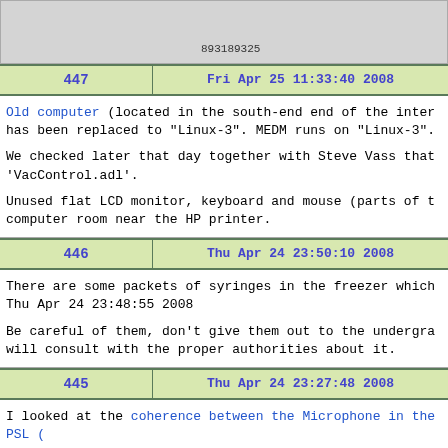|  | 893189325 |  | 893189400 |  |
| --- | --- | --- | --- | --- |
| 447 | Fri Apr 25 11:33:40 2008 |  |
| --- | --- | --- |
Old computer (located in the south-end end of the inter has been replaced to "Linux-3". MEDM runs on "Linux-3".

We checked later that day together with Steve Vass that 'VacControl.adl'.

Unused flat LCD monitor, keyboard and mouse (parts of t computer room near the HP printer.
| 446 | Thu Apr 24 23:50:10 2008 |  |
| --- | --- | --- |
There are some packets of syringes in the freezer which Thu Apr 24 23:48:55 2008

Be careful of them, don't give them out to the undergra will consult with the proper authorities about it.
| 445 | Thu Apr 24 23:27:48 2008 |  |
| --- | --- | --- |
I looked at the coherence between the Microphone in the PSL (

We want to use a microphone to do Wiener/Adaptive noise have a coherence of more than ~0.1 in order for that to

The attached plot shows the...